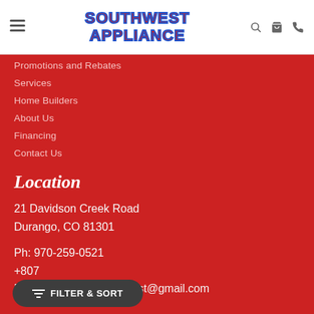[Figure (logo): Southwest Appliance logo with red text and blue outline, bold uppercase letters]
Promotions and Rebates
Services
Home Builders
About Us
Financing
Contact Us
Location
21 Davidson Creek Road
Durango, CO 81301
Ph: 970-259-0521
+807
Email: appliancesouthwest@gmail.com